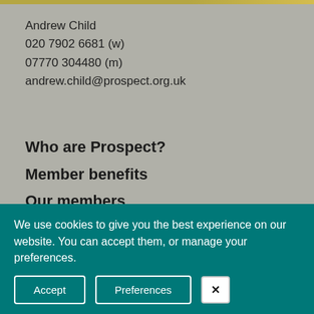Andrew Child
020 7902 6681 (w)
07770 304480 (m)
andrew.child@prospect.org.uk
Who are Prospect?
Member benefits
Our members
We use cookies to give you the best experience on our website. You can accept them, or manage your preferences.